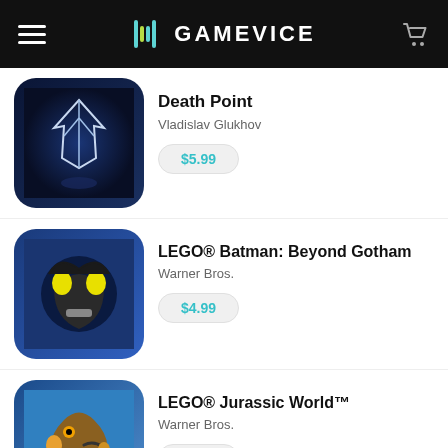GAMEVICE
Death Point | Vladislav Glukhov | $5.99
LEGO® Batman: Beyond Gotham | Warner Bros. | $4.99
LEGO® Jurassic World™ | Warner Bros. | $4.99
LEGO® Ninjago™: Shadow of Ronin™ | Warner Bros. | $4.99
LEGO® Star Wars™: TCS | Warner Bros. | FREE
LEGO® Star Wars™: The Force Awakens